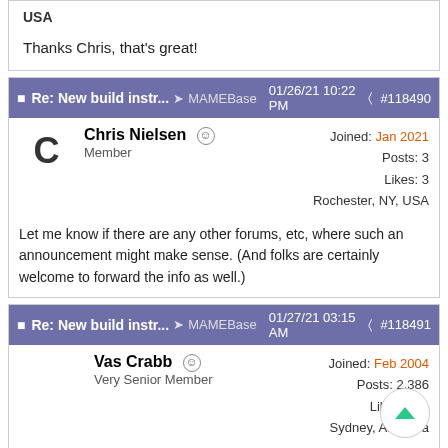USA
Thanks Chris, that's great!
Re: New build instr... MAMEBase 01/26/21 10:22 PM #118490
Chris Nielsen Member
Joined: Jan 2021
Posts: 3
Likes: 3
Rochester, NY, USA
Let me know if there are any other forums, etc, where such an announcement might make sense. (And folks are certainly welcome to forward the info as well.)
Re: New build instr... MAMEBase 01/27/21 03:15 AM #118491
Vas Crabb Very Senior Member
Joined: Feb 2004
Posts: 2,386
Likes: 101
Sydney, Australia